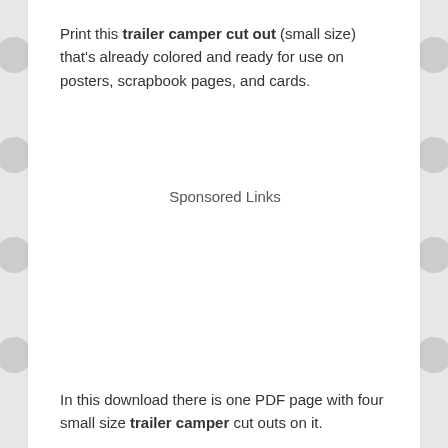Print this trailer camper cut out (small size) that's already colored and ready for use on posters, scrapbook pages, and cards.
Sponsored Links
In this download there is one PDF page with four small size trailer camper cut outs on it.